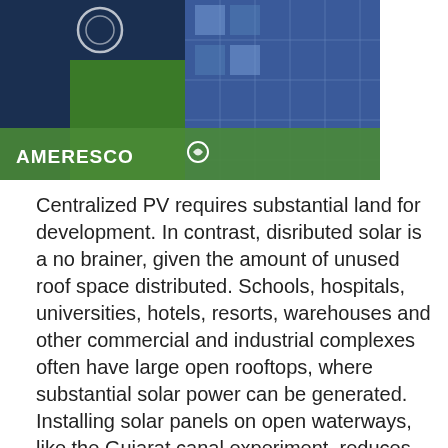[Figure (photo): Photograph of solar panels with green field and blue solar panel array, overlaid with Ameresco logo on a green banner at the bottom]
Centralized PV requires substantial land for development. In contrast, disributed solar is a no brainer, given the amount of unused roof space distributed. Schools, hospitals, universities, hotels, resorts, warehouses and other commercial and industrial complexes often have large open rooftops, where substantial solar power can be generated. Installing solar panels on open waterways, like the Gujarat canal experiment, reduces evaporation and generates power wherever water goes. This is just one example of ingenuity that solar PV affords and why it has a huge socio-economic benefit, especially in fast developing countries.